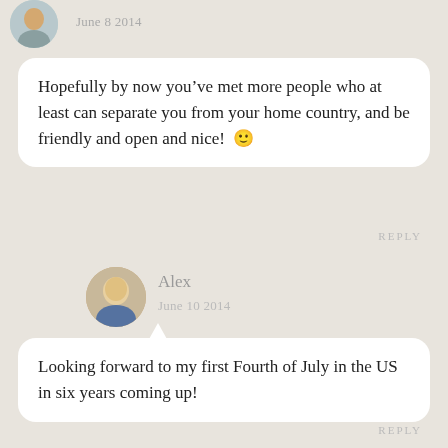June 8 2014
Hopefully by now you’ve met more people who at least can separate you from your home country, and be friendly and open and nice! 🙂
REPLY
Alex
June 10 2014
Looking forward to my first Fourth of July in the US in six years coming up!
REPLY